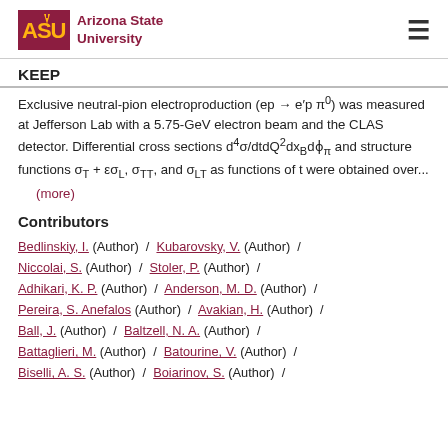Arizona State University
KEEP
Exclusive neutral-pion electroproduction (ep → e′p π°) was measured at Jefferson Lab with a 5.75-GeV electron beam and the CLAS detector. Differential cross sections d⁴σ/dtdQ²dx_B dφ_π and structure functions σ_T + εσ_L, σ_TT, and σ_LT as functions of t were obtained over...
(more)
Contributors
Bedlinskiy, I. (Author) / Kubarovsky, V. (Author) / Niccolai, S. (Author) / Stoler, P. (Author) / Adhikari, K. P. (Author) / Anderson, M. D. (Author) / Pereira, S. Anefalos (Author) / Avakian, H. (Author) / Ball, J. (Author) / Baltzell, N. A. (Author) / Battaglieri, M. (Author) / Batourine, V. (Author) / Biselli, A. S. (Author) / Boiarinov, S. (Author)